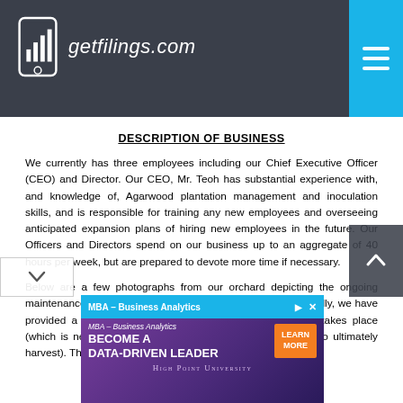[Figure (logo): getfilings.com logo with mobile phone icon showing bar chart, white text on dark background]
DESCRIPTION OF BUSINESS
We currently has three employees including our Chief Executive Officer (CEO) and Director. Our CEO, Mr. Teoh has substantial experience with, and knowledge of, Agarwood plantation management and inoculation skills, and is responsible for training any new employees and overseeing anticipated expansion plans of hiring new employees in the future. Our Officers and Directors spend on our business up to an aggregate of 40 hours per week, but are prepared to devote more time if necessary.
Below are a few photographs from our orchard depicting the ongoing maintenance required to upkeep the Acquilaria trees. Additionally, we have provided a graphic depicting how the infection of the tree takes place (which is necessary to develop the Agarwood that we plan to ultimately harvest). The needle is filled with an infectious fungus.
[Figure (advertisement): MBA – Business Analytics, BECOME A DATA-DRIVEN LEADER, High Point University advertisement banner]